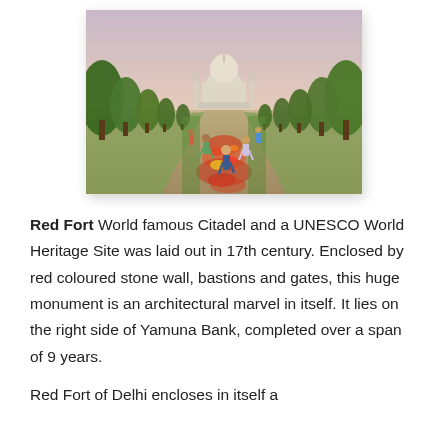[Figure (photo): Photo of the Taj Mahal seen from the garden pathway, with tourists walking along a central flower-lined path flanked by trees, taken at dusk or dawn with a pinkish sky.]
Red Fort World famous Citadel and a UNESCO World Heritage Site was laid out in 17th century. Enclosed by red coloured stone wall, bastions and gates, this huge monument is an architectural marvel in itself. It lies on the right side of Yamuna Bank, completed over a span of 9 years.
Red Fort of Delhi encloses in itself a